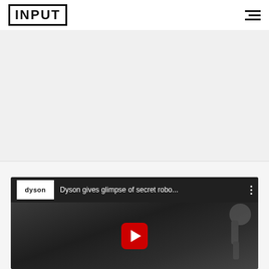INPUT
[Figure (screenshot): YouTube video embed placeholder showing Dyson robot arm video thumbnail with title 'Dyson gives glimpse of secret robo...' and YouTube play button]